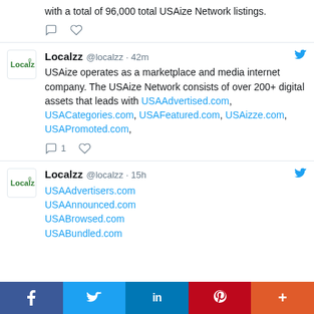with a total of 96,000 total USAize Network listings.
Localzz @localzz · 42m
USAize operates as a marketplace and media internet company. The USAize Network consists of over 200+ digital assets that leads with USAAdvertised.com, USACategories.com, USAFeatured.com, USAizze.com, USAPromoted.com,
Localzz @localzz · 15h
USAAdvertisers.com
USAAnnounced.com
USABrowsed.com
USABundled.com
[Figure (infographic): Social media share bar with Facebook, Twitter, LinkedIn, Pinterest, and More buttons]